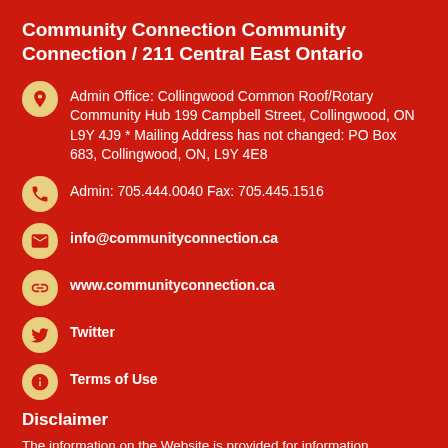Community Connection Community Connection / 211 Central East Ontario
Admin Office: Collingwood Common Roof/Rotary Community Hub 199 Campbell Street, Collingwood, ON L9Y 4J9 * Mailing Address has not changed: PO Box 683, Collingwood, ON, L9Y 4E8
Admin: 705.444.0040 Fax: 705.445.1516
info@communityconnection.ca
www.communityconnection.ca
Twitter
Terms of Use
Disclaimer
The information on the Website is provided for information purposes only. It is not intended to provide medical, legal or professional advice whatsoever and should not be relied upon in that respect. The website and the content are provided "as is". While Community Connection/211 endeavours to provide information that is correct, accurate and timely, Community